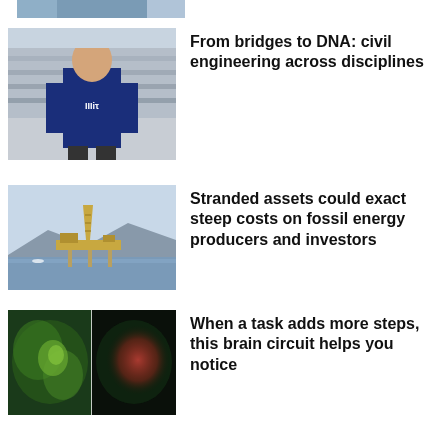[Figure (photo): Partial view of a person at the top of the page, cropped]
[Figure (photo): Young man wearing an MIT t-shirt standing in front of a building with steps]
From bridges to DNA: civil engineering across disciplines
[Figure (photo): An offshore oil drilling platform on the water with mountains in the background]
Stranded assets could exact steep costs on fossil energy producers and investors
[Figure (photo): Split image showing green plant tissue on the left and red-glowing tissue on the right, likely microscopy images]
When a task adds more steps, this brain circuit helps you notice